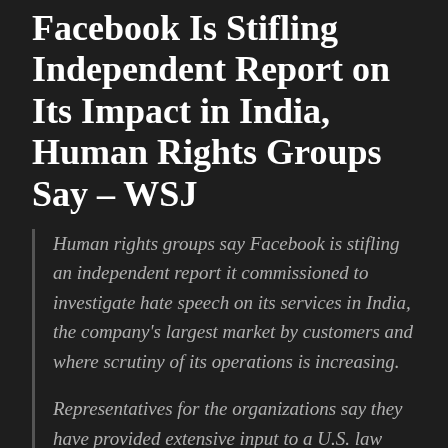Facebook Is Stifling Independent Report on Its Impact in India, Human Rights Groups Say – WSJ
Human rights groups say Facebook is stifling an independent report it commissioned to investigate hate speech on its services in India, the company's largest market by customers and where scrutiny of its operations is increasing.
Representatives for the organizations say they have provided extensive input to a U.S. law firm that Facebook commissioned in mid-2020 to undertake the report. The